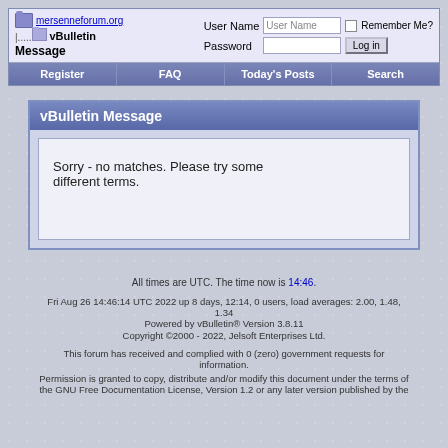mersenneforum.org vBulletin Message — User Name / Password / Remember Me / Log in
Register | FAQ | Today's Posts | Search
vBulletin Message
Sorry - no matches. Please try some different terms.
All times are UTC. The time now is 14:46.
Fri Aug 26 14:46:14 UTC 2022 up 8 days, 12:14, 0 users, load averages: 2.00, 1.48, 1.34
Powered by vBulletin® Version 3.8.11
Copyright ©2000 - 2022, Jelsoft Enterprises Ltd.
This forum has received and complied with 0 (zero) government requests for information.
Permission is granted to copy, distribute and/or modify this document under the terms of the GNU Free Documentation License, Version 1.2 or any later version published by the